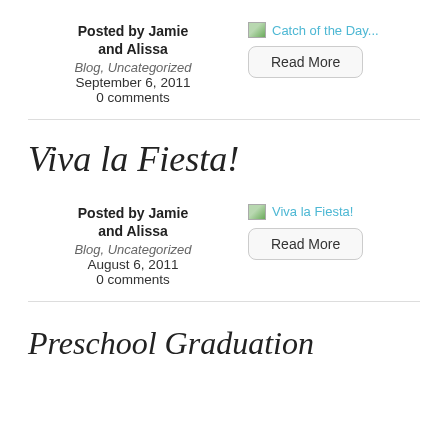Posted by Jamie and Alissa
Blog, Uncategorized
September 6, 2011
0 comments
[Figure (other): Broken image placeholder with link text: Catch of the Day...]
Read More
Viva la Fiesta!
Posted by Jamie and Alissa
Blog, Uncategorized
August 6, 2011
0 comments
[Figure (other): Broken image placeholder with link text: Viva la Fiesta!]
Read More
Preschool Graduation